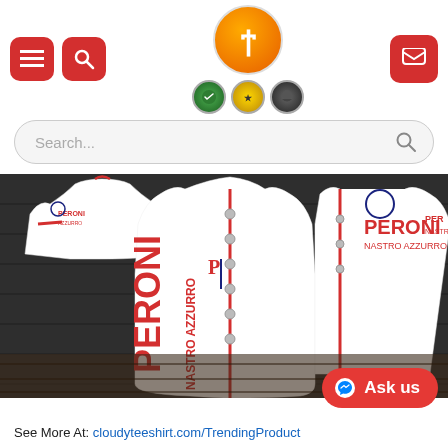[Figure (screenshot): Website header with red hamburger menu button, red search icon button, orange circular logo with letter t in the center, three badge icons below, and red shopping cart button on the right]
[Figure (screenshot): Search bar with placeholder text 'Search...' and magnifying glass icon on right]
[Figure (photo): Peroni Nastro Azzurro branded white baseball jersey with red trim, displayed front and back, on a wooden floor background. The jersey features the Peroni Nastro Azzurro logo printed vertically on the front and on the sleeves.]
[Figure (screenshot): Red rounded 'Ask us' button with Messenger icon on the bottom right]
See More At: cloudyteeshirt.com/TrendingProduct